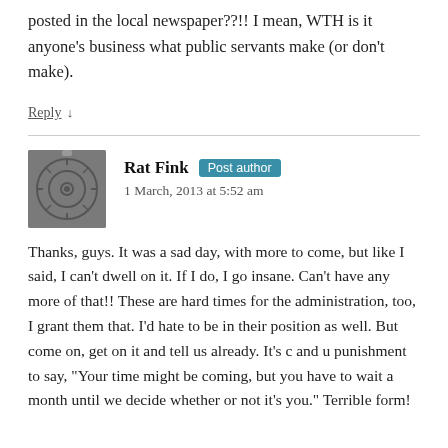posted in the local newspaper??!! I mean, WTH is it anyone's business what public servants make (or don't make).
Reply ↓
Rat Fink  Post author
1 March, 2013 at 5:52 am
Thanks, guys. It was a sad day, with more to come, but like I said, I can't dwell on it. If I do, I go insane. Can't have any more of that!! These are hard times for the administration, too, I grant them that. I'd hate to be in their position as well. But come on, get on it and tell us already. It's c and u punishment to say, "Your time might be coming, but you have to wait a month until we decide whether or not it's you." Terrible form!